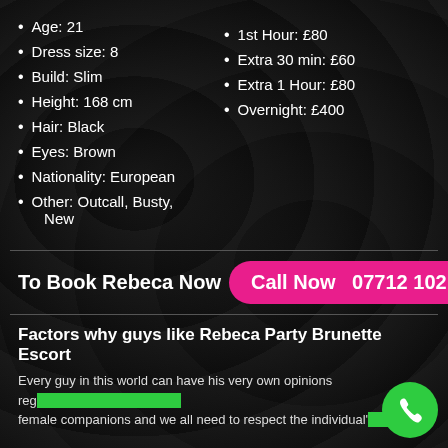Age: 21
Dress size: 8
Build: Slim
Height: 168 cm
Hair: Black
Eyes: Brown
Nationality: European
Other: Outcall, Busty, New
1st Hour: £80
Extra 30 min: £60
Extra 1 Hour: £80
Overnight: £400
To Book Rebeca Now  Call Now  07712 102 611
Factors why guys like Rebeca Party Brunette Escort
Every guy in this world can have his very own opinions regarding female companions and we all need to respect the individual's